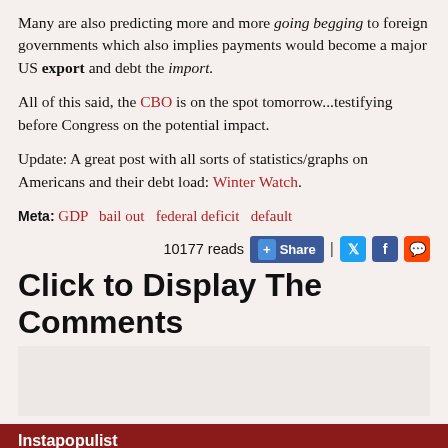Many are also predicting more and more going begging to foreign governments which also implies payments would become a major US export and debt the import.
All of this said, the CBO is on the spot tomorrow...testifying before Congress on the potential impact.
Update: A great post with all sorts of statistics/graphs on Americans and their debt load: Winter Watch.
Meta: GDP  bail out  federal deficit  default
10177 reads  Share
Click to Display The Comments
Instapopulist
The Constitution Party's Donald Trump Dilemma Version 2020